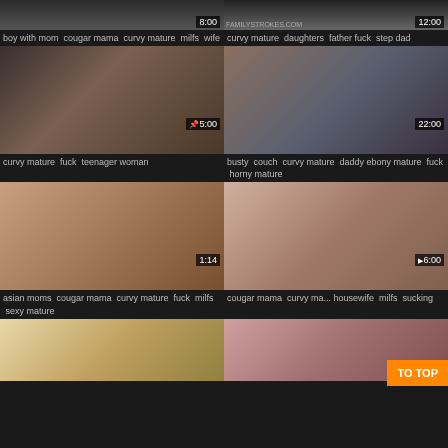[Figure (screenshot): Video thumbnail grid - adult video website screenshot with 6 visible video thumbnails in 2-column layout with tags and durations]
boy with mom  cougar mama  curvy mature  milfs  wife
curvy mature  daughters  father fuck  step dad
[Figure (screenshot): Video thumbnail - duration 5:00]
curvy mature  fuck  teenager woman
[Figure (screenshot): Video thumbnail - duration 22:00]
busty  couch  curvy mature  daddy ebony mature  fuck  horny mature
[Figure (screenshot): Video thumbnail - duration 1:14]
asian moms  cougar mama  curvy mature  fuck  milfs  sexy mature
[Figure (screenshot): Video thumbnail - duration 6:00]
cougar mama  curvy ma... housewife  milfs  sucking
[Figure (screenshot): Video thumbnail - kitchen scene]
[Figure (screenshot): Video thumbnail - bedroom scene]